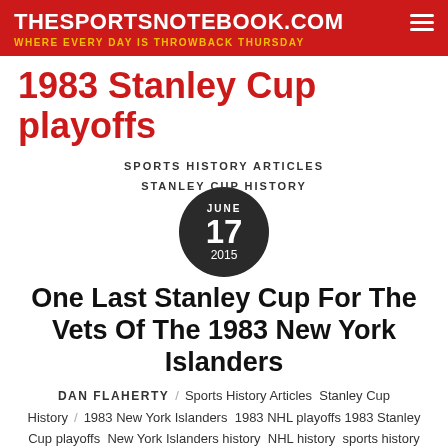THESPORTSNOTEBOOK.COM
WHERE EVERY DAY IS THROWBACK THURSDAY
1983 Stanley Cup playoffs
SPORTS HISTORY ARTICLES
STANLEY CUP HISTORY
JUNE 17 2015
One Last Stanley Cup For The Vets Of The 1983 New York Islanders
DAN FLAHERTY / Sports History Articles Stanley Cup History / 1983 New York Islanders 1983 NHL playoffs 1983 Stanley Cup playoffs New York Islanders history NHL history sports history articles Stanley Cup history